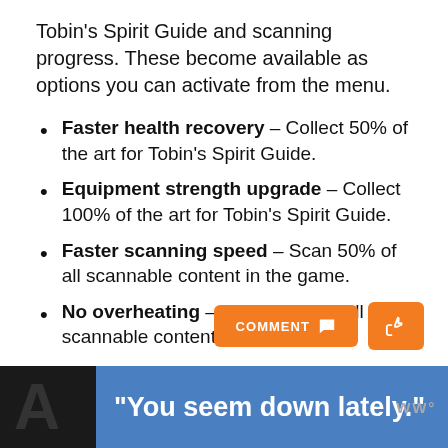Tobin's Spirit Guide and scanning progress. These become available as options you can activate from the menu.
Faster health recovery – Collect 50% of the art for Tobin's Spirit Guide.
Equipment strength upgrade – Collect 100% of the art for Tobin's Spirit Guide.
Faster scanning speed – Scan 50% of all scannable content in the game.
No overheating – Scan 100% of all scannable content in the game.
Invulnerability – Complete the game with 100% art for Tobin's Spirit Guide and 100% scanned content.
"You seem down lately."